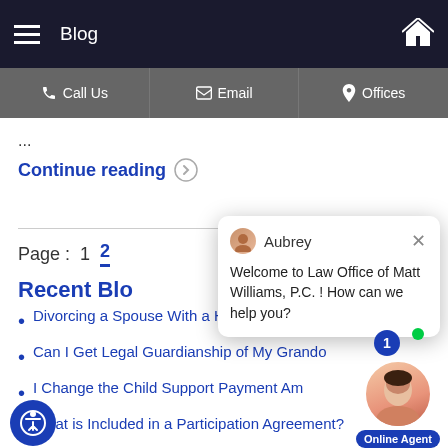Blog
Call Us | Email | Offices
...
Continue reading
Page : 1  2
Recent Blo...
Divorcing a Spouse With a High-Conflict Personality
Can I Get Legal Guardianship of My Grandchild?
Can I Change the Child Support Payment Amount?
What is Included in a Participation Agreement?
[Figure (screenshot): Chat popup with agent Aubrey, message: Welcome to Law Office of Matt Williams, P.C. ! How can we help you?]